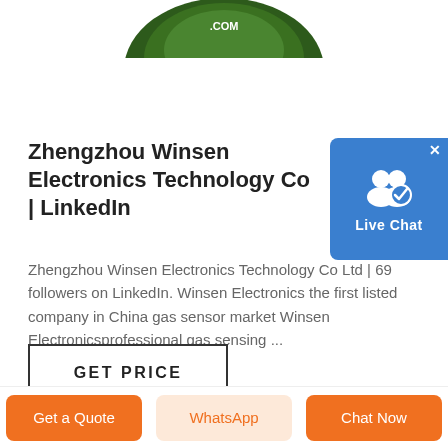[Figure (photo): Partial top view of a round product (green/black spool or sensor) with text visible, cropped at top of page]
Zhengzhou Winsen Electronics Technology Co | LinkedIn
Zhengzhou Winsen Electronics Technology Co Ltd | 69 followers on LinkedIn. Winsen Electronics the first listed company in China gas sensor market Winsen Electronicsprofessional gas sensing ...
[Figure (screenshot): Live Chat button widget in blue with user icon and checkmark]
GET PRICE
CHAT WITH WHATSAPP
Get a Quote | WhatsApp | Chat Now